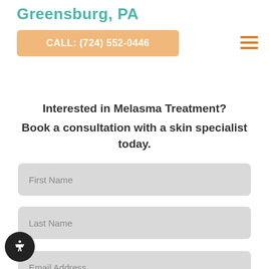Greensburg, PA
CALL: (724) 552-0446
to request your appointment today.
Interested in Melasma Treatment? Book a consultation with a skin specialist today.
First Name
Last Name
Email Address